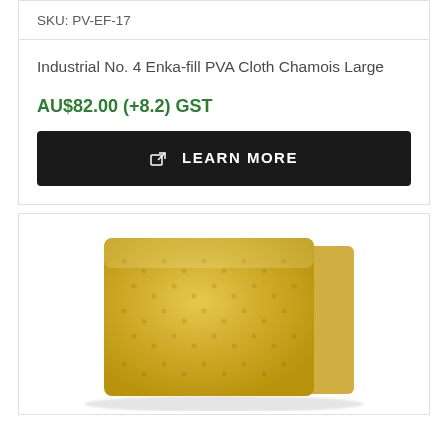SKU: PV-EF-17
Industrial No. 4 Enka-fill PVA Cloth Chamois Large
AU$82.00 (+8.2) GST
LEARN MORE
[Figure (photo): Yellow/golden folded PVA chamois cloth on white background]